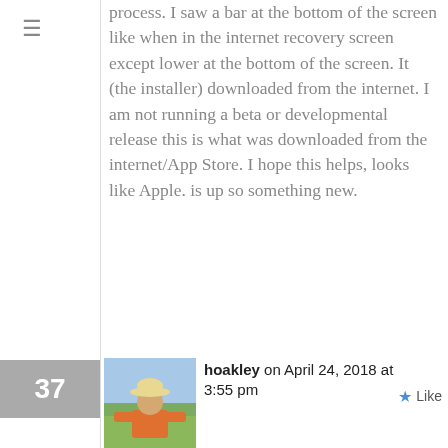process. I saw a bar at the bottom of the screen like when in the internet recovery screen except lower at the bottom of the screen. It (the installer) downloaded from the internet. I am not running a beta or developmental release this is what was downloaded from the internet/App Store. I hope this helps, looks like Apple. is up so something new.
[Figure (photo): Avatar photo of hoakley: person wearing a wide-brimmed hat and orange jacket, outdoors in a field]
hoakley on April 24, 2018 at 3:55 pm
Thanks.
Your EFI firmware version looks good to me. If you're not sure what has been downloaded, my free app SystHist from Downloads gives you full details.